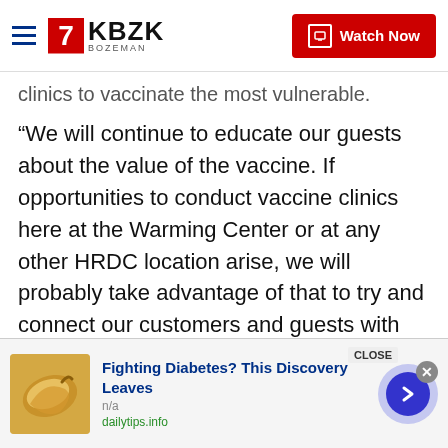KBZK BOZEMAN | Watch Now
clinics to vaccinate the most vulnerable.
“We will continue to educate our guests about the value of the vaccine. If opportunities to conduct vaccine clinics here at the Warming Center or at any other HRDC location arise, we will probably take advantage of that to try and connect our customers and guests with those vaccines,” Guyer added.
“We will be working on tailoring that effort to sort of the next phase, as we move into warmer weather, we will probably need some different approaches to make sure we reach that population,” said Cosney
[Figure (screenshot): Advertisement banner: Fighting Diabetes? This Discovery Leaves - dailytips.info, with cashew nut image and navigation arrow]